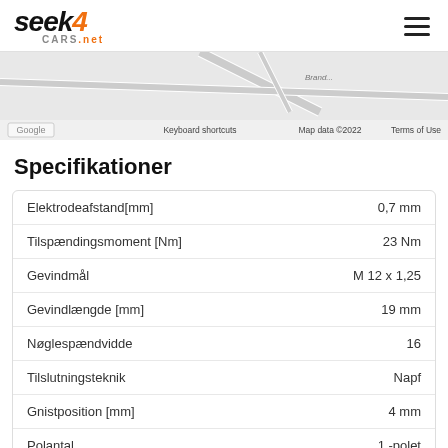seek4cars.net
[Figure (map): Google Maps view showing road area with 'Brand' label; attribution shows 'Keyboard shortcuts', 'Map data ©2022', 'Terms of Use']
Specifikationer
|  |  |
| --- | --- |
| Elektrodeafstand[mm] | 0,7 mm |
| Tilspændingsmoment [Nm] | 23 Nm |
| Gevindmål | M 12 x 1,25 |
| Gevindlængde [mm] | 19 mm |
| Nøglespændvidde | 16 |
| Tilslutningsteknik | Napf |
| Gnistposition [mm] | 4 mm |
| Polantal | 1 -polet |